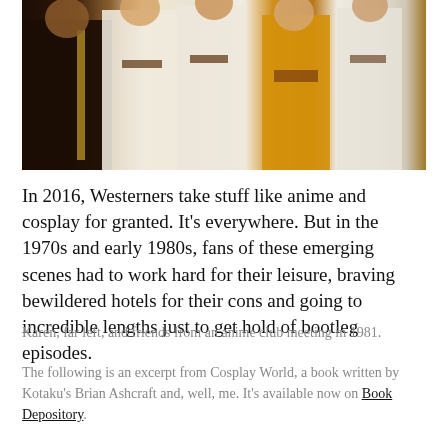[Figure (photo): Group photo of people in cosplay costumes including military-style uniforms and a yellow outfit, taken at an anime club meeting in 1981.]
In 2016, Westerners take stuff like anime and cosplay for granted. It's everywhere. But in the 1970s and early 1980s, fans of these emerging scenes had to work hard for their leisure, braving bewildered hotels for their cons and going to incredible lengths just to get hold of bootleg episodes.
Karen, far left, and friends from an anime club meeting in 1981.
The following is an excerpt from Cosplay World, a book written by Kotaku's Brian Ashcraft and, well, me. It's available now on Book Depository.